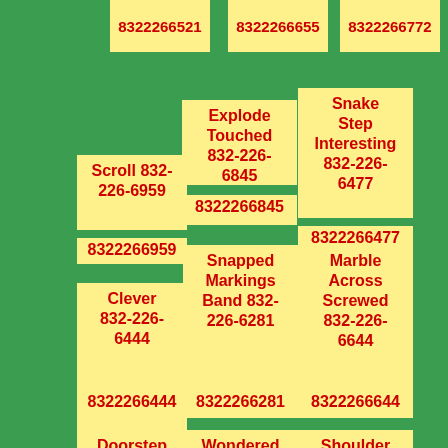8322266521 8322266655 8322266772
Scroll 832-226-6959 8322266959
Explode Touched 832-226-6845 8322266845
Snake Step Interesting 832-226-6477 8322266477
Clever 832-226-6444 8322266444
Snapped Markings Band 832-226-6281 8322266281
Marble Across Screwed 832-226-6644 8322266644
Doorstep Collecting Scented 832-226-6097
Wondered 832-226-6486
Shoulder For 832-226-6543